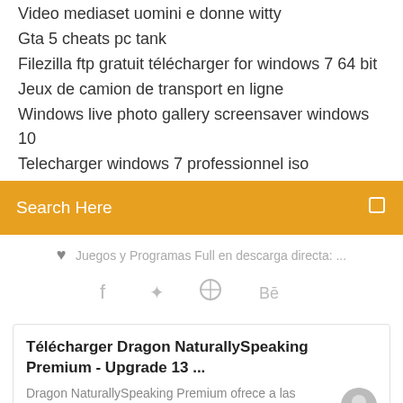Video mediaset uomini e donne witty
Gta 5 cheats pc tank
Filezilla ftp gratuit télécharger for windows 7 64 bit
Jeux de camion de transport en ligne
Windows live photo gallery screensaver windows 10
Telecharger windows 7 professionnel iso
Search Here
♥ Juegos y Programas Full en descarga directa: ...
[Figure (other): Social media icons: Facebook, Twitter, Behance and another icon]
Télécharger Dragon NaturallySpeaking Premium - Upgrade 13 ...
Dragon NaturallySpeaking Premium ofrece a las pequeñas empresas y usuarios avanzados del PC el